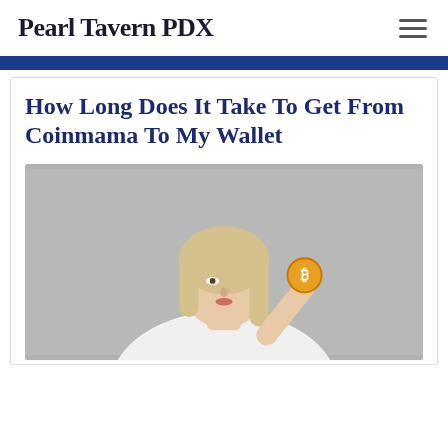Pearl Tavern PDX
How Long Does It Take To Get From Coinmama To My Wallet
[Figure (photo): Blonde woman in white shirt holding a gold Bitcoin coin up to cover her eye, against a grey background.]